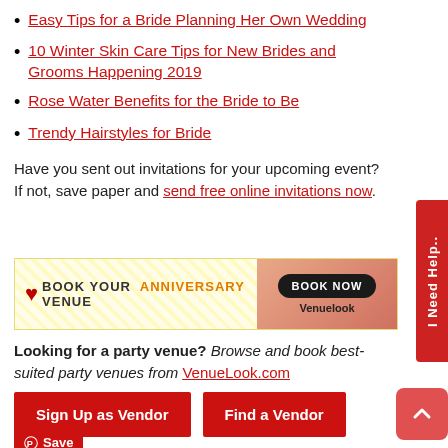Easy Tips for a Bride Planning Her Own Wedding
10 Winter Skin Care Tips for New Brides and Grooms Happening 2019
Rose Water Benefits for the Bride to Be
Trendy Hairstyles for Bride
Have you sent out invitations for your upcoming event? If not, save paper and send free online invitations now.
[Figure (infographic): Banner ad: BOOK YOUR ANNIVERSARY VENUE with BOOK NOW button and VenueLook logo on a patterned yellow/pink background]
Looking for a party venue? Browse and book best-suited party venues from VenueLook.com
Sign Up as Vendor
Find a Vendor